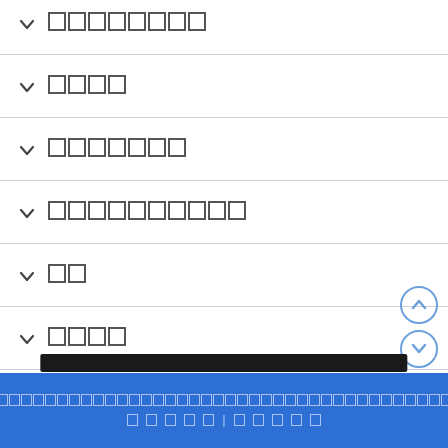▾ ████████
▾ ████
▾ ███████
▾ ██████████
▾ ██
▾ ████
████████████████████████████████████████████████████████████████████████████████████████████████ | ██████